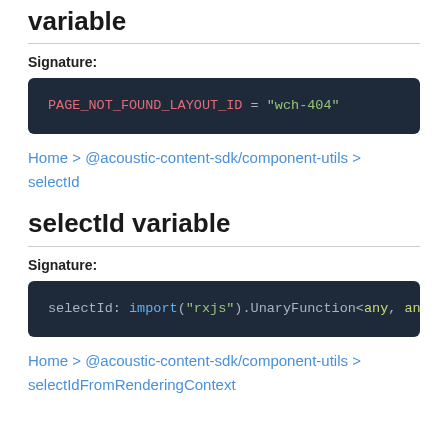variable
Signature:
PAGE_NOT_FOUND_LAYOUT_ID = "wch-404"
Home > @acoustic-content-sdk/component-utils > selectId
selectId variable
Signature:
selectId: import("rxjs").UnaryFunction<any, any>
Home > @acoustic-content-sdk/component-utils > selectIdFromRenderingContext